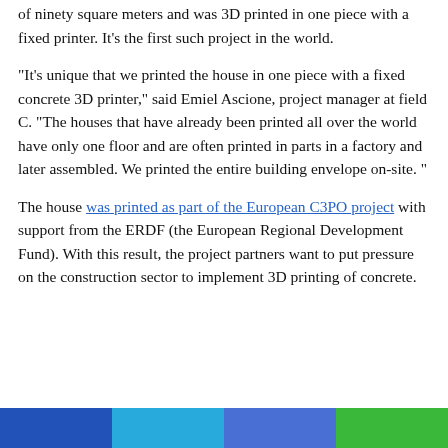of ninety square meters and was 3D printed in one piece with a fixed printer. It's the first such project in the world.
“It’s unique that we printed the house in one piece with a fixed concrete 3D printer,” said Emiel Ascione, project manager at field C. “The houses that have already been printed all over the world have only one floor and are often printed in parts in a factory and later assembled. We printed the entire building envelope on-site. ”
The house was printed as part of the European C3PO project with support from the ERDF (the European Regional Development Fund). With this result, the project partners want to put pressure on the construction sector to implement 3D printing of concrete.
[Figure (other): Four colored horizontal bars at the bottom: dark blue, light blue, medium blue, and green]